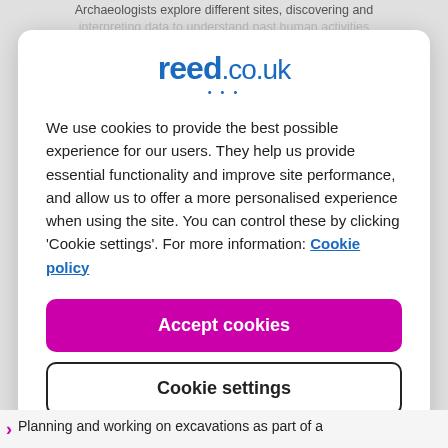Archaeologists explore different sites, discovering and interpreting data to understand past human activities
[Figure (logo): reed.co.uk logo with blue text and three dots beneath 'reed']
We use cookies to provide the best possible experience for our users. They help us provide essential functionality and improve site performance, and allow us to offer a more personalised experience when using the site. You can control these by clicking 'Cookie settings'. For more information: Cookie policy
Accept cookies
Cookie settings
Planning and working on excavations as part of a